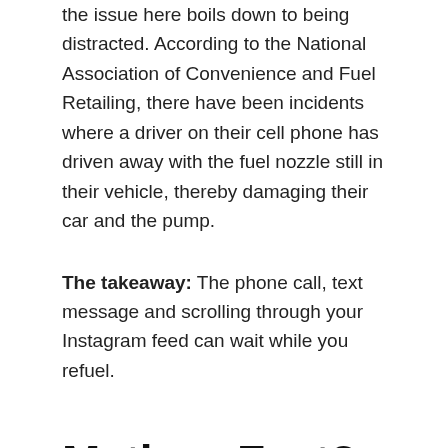the issue here boils down to being distracted. According to the National Association of Convenience and Fuel Retailing, there have been incidents where a driver on their cell phone has driven away with the fuel nozzle still in their vehicle, thereby damaging their car and the pump.
The takeaway: The phone call, text message and scrolling through your Instagram feed can wait while you refuel.
Myth or Fact? You Shouldn't Go Back Into Your Car When You're